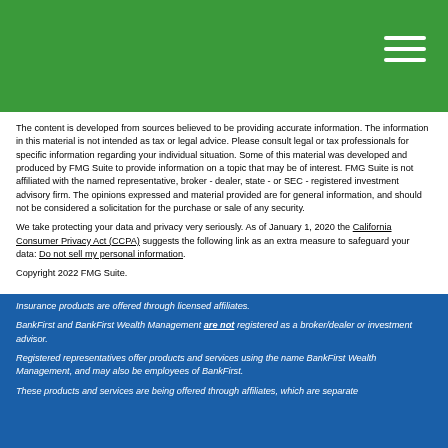The content is developed from sources believed to be providing accurate information. The information in this material is not intended as tax or legal advice. Please consult legal or tax professionals for specific information regarding your individual situation. Some of this material was developed and produced by FMG Suite to provide information on a topic that may be of interest. FMG Suite is not affiliated with the named representative, broker - dealer, state - or SEC - registered investment advisory firm. The opinions expressed and material provided are for general information, and should not be considered a solicitation for the purchase or sale of any security.
We take protecting your data and privacy very seriously. As of January 1, 2020 the California Consumer Privacy Act (CCPA) suggests the following link as an extra measure to safeguard your data: Do not sell my personal information.
Copyright 2022 FMG Suite.
Insurance products are offered through licensed affiliates.
BankFirst and BankFirst Wealth Management are not registered as a broker/dealer or investment advisor.
Registered representatives offer products and services using the name BankFirst Wealth Management, and may also be employees of BankFirst.
These products and services are being offered through affiliates, which are separate